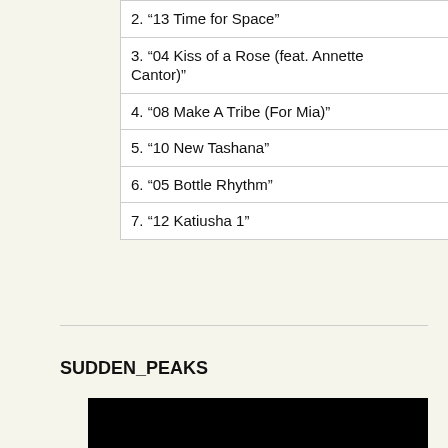| Track | Duration |
| --- | --- |
| 2. “13 Time for Space” | 7:14 |
| 3. “04 Kiss of a Rose (feat. Annette Cantor)” | 8:09 |
| 4. “08 Make A Tribe (For Mia)” | 5:38 |
| 5. “10 New Tashana” | 4:33 |
| 6. “05 Bottle Rhythm” | 4:05 |
| 7. “12 Katiusha 1” | 1:59 |
SUDDEN_PEAKS
[Figure (photo): Black rectangle image placeholder]